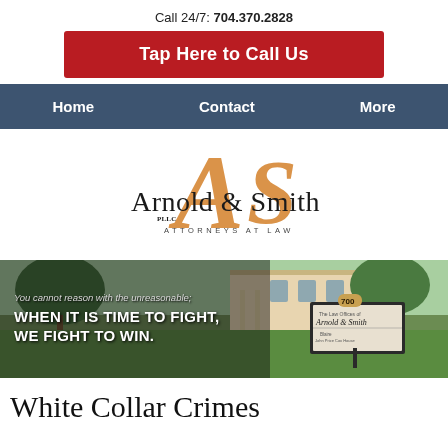Call 24/7: 704.370.2828
Tap Here to Call Us
Home   Contact   More
[Figure (logo): Arnold & Smith PLLC Attorneys at Law logo with orange stylized AS monogram]
[Figure (photo): Law office exterior photo with sign reading Arnold & Smith and text overlay: You cannot reason with the unreasonable; WHEN IT IS TIME TO FIGHT, WE FIGHT TO WIN.]
White Collar Crimes